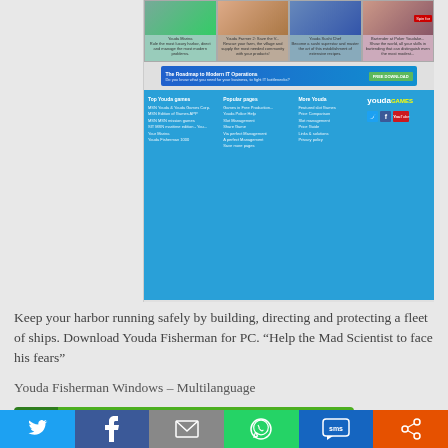[Figure (screenshot): Screenshot of Youda Games website showing game thumbnails, an IT Operations ad banner, and a blue footer with navigation links and social media icons.]
Keep your harbor running safely by building, directing and protecting a fleet of ships. Download Youda Fisherman for PC. “Help the Mad Scientist to face his fears”
Youda Fisherman Windows – Multilanguage
Prove you are the worthy hero praised in books and maintain your universal fame by helping a stranger to rebuild his fishing company.
[Figure (screenshot): GET FULL VERSION green button with chevron icon on left]
[Figure (infographic): Social sharing bar with Twitter, Facebook, Email, WhatsApp, SMS, and Share icons]